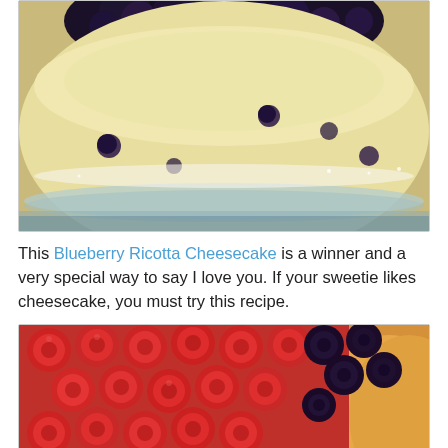[Figure (photo): Close-up photo of a blueberry ricotta cheesecake with blueberry topping and powdered sugar dusting on a glass cake stand]
This Blueberry Ricotta Cheesecake is a winner and a very special way to say I love you. If your sweetie likes cheesecake, you must try this recipe.
[Figure (photo): Close-up photo of a cheesecake topped with fresh red raspberries and blackberries]